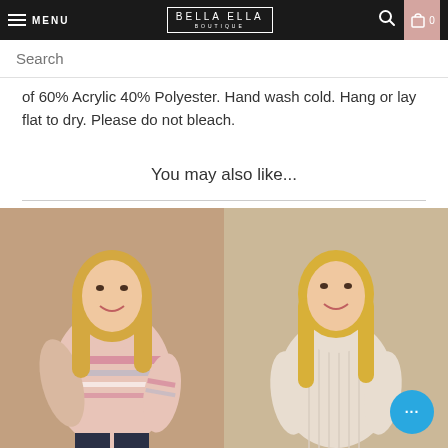MENU | BELLA ELLA BOUTIQUE | Search | Cart 0
Search
of 60% Acrylic 40% Polyester. Hand wash cold. Hang or lay flat to dry. Please do not bleach.
You may also like...
[Figure (photo): Blonde woman wearing a striped pink and white oversized sweater with dark jeans, posed against a beige background]
[Figure (photo): Blonde woman wearing a cream/beige ribbed knit sweater, posed against a beige background]